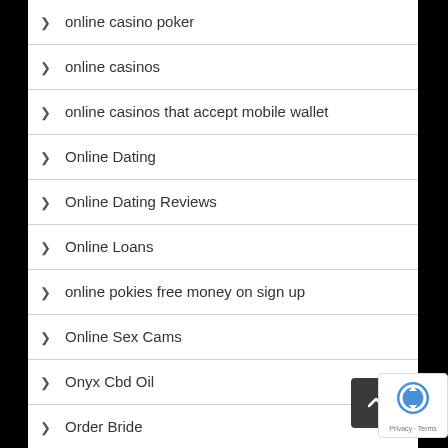online casino poker
online casinos
online casinos that accept mobile wallet
Online Dating
Online Dating Reviews
Online Loans
online pokies free money on sign up
Online Sex Cams
Onyx Cbd Oil
Order Bride